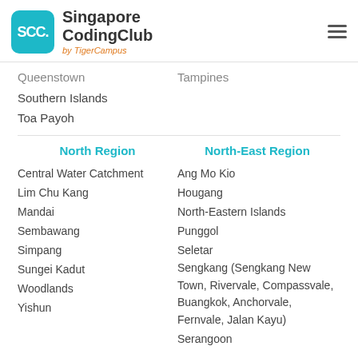Singapore CodingClub by TigerCampus
Queenstown
Tampines
Southern Islands
Toa Payoh
North Region
North-East Region
Central Water Catchment
Ang Mo Kio
Lim Chu Kang
Hougang
Mandai
North-Eastern Islands
Sembawang
Punggol
Simpang
Seletar
Sungei Kadut
Sengkang (Sengkang New Town, Rivervale, Compassvale, Buangkok, Anchorvale, Fernvale, Jalan Kayu)
Woodlands
Yishun
Serangoon